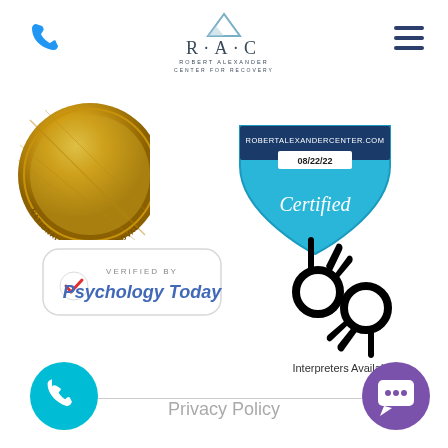[Figure (logo): Blue phone icon in top-left corner]
[Figure (logo): R·A·C Robert Alexander Center for Recovery logo with mountain peak above letters]
[Figure (logo): Hamburger menu icon (three horizontal lines) in top-right corner]
[Figure (logo): National Quality Approval gold medal badge (partially cropped)]
[Figure (logo): Certification badge: ROBERTALEXANDERCENTER.COM / 08/22/22 / Certified - blue shield shape]
[Figure (logo): Verified by Psychology Today badge with red checkmark]
[Figure (illustration): Sign language hands icon in black silhouette]
Interpreters Available
[Figure (logo): Cyan/teal circular phone button in bottom-left]
Privacy Policy
[Figure (logo): Purple circular chat/message button in bottom-right]